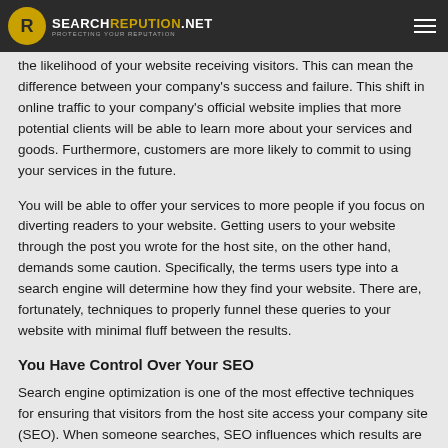SEARCHREPUTATION.NET PROTECTING YOUR REPUTATION
the likelihood of your website receiving visitors. This can mean the difference between your company's success and failure. This shift in online traffic to your company's official website implies that more potential clients will be able to learn more about your services and goods. Furthermore, customers are more likely to commit to using your services in the future.
You will be able to offer your services to more people if you focus on diverting readers to your website. Getting users to your website through the post you wrote for the host site, on the other hand, demands some caution. Specifically, the terms users type into a search engine will determine how they find your website. There are, fortunately, techniques to properly funnel these queries to your website with minimal fluff between the results.
You Have Control Over Your SEO
Search engine optimization is one of the most effective techniques for ensuring that visitors from the host site access your company site (SEO). When someone searches, SEO influences which results are displayed first. Of course, we are all familiar with popular search engines such as Google and Bing. These search engines' algorithms use a keyword system to link the phrases used in the search to the content of the results it displays.